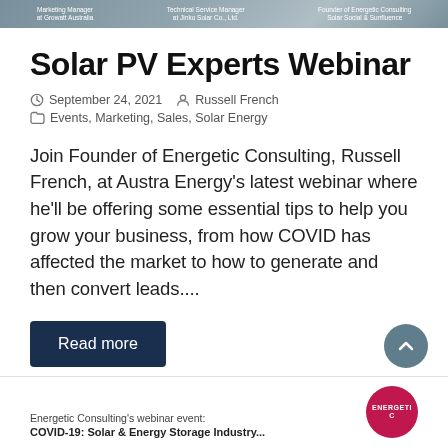[Figure (photo): Header banner image showing three presenters with text: Marketing Manager at Growatt Australia, Technical Service Manager at Jinko Solar Co., Ltd., Founder of Energetic Consulting Solar Social & Sunfluence]
Solar PV Experts Webinar
September 24, 2021   Russell French
Events, Marketing, Sales, Solar Energy
Join Founder of Energetic Consulting, Russell French, at Austra Energy's latest webinar where he'll be offering some essential tips to help you grow your business, from how COVID has affected the market to how to generate and then convert leads....
Read more
Energetic Consulting's webinar event:
COVID-19: Solar & Energy Storage Industry...